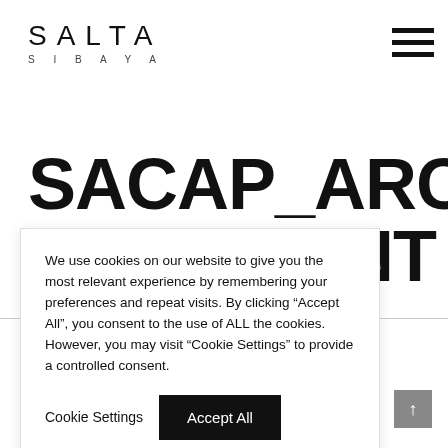[Figure (logo): SALTA SIBAYA logo in the top left corner]
[Figure (other): Hamburger menu icon (three horizontal lines) in the top right corner]
SACAP_ARCHITECT_COMMENT
We use cookies on our website to give you the most relevant experience by remembering your preferences and repeat visits. By clicking “Accept All”, you consent to the use of ALL the cookies. However, you may visit “Cookie Settings” to provide a controlled consent.
Cookie Settings   Accept All